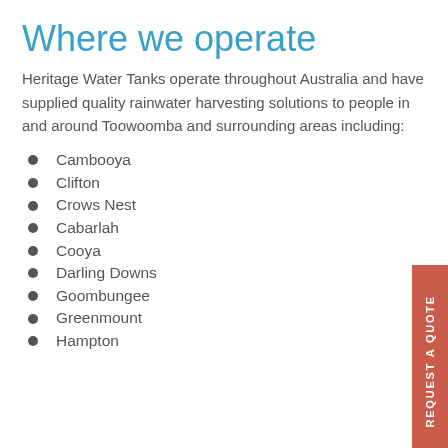Where we operate
Heritage Water Tanks operate throughout Australia and have supplied quality rainwater harvesting solutions to people in and around Toowoomba and surrounding areas including:
Cambooya
Clifton
Crows Nest
Cabarlah
Cooya
Darling Downs
Goombungee
Greenmount
Hampton